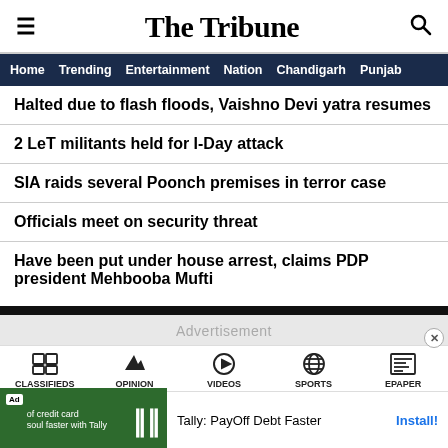The Tribune
Home  Trending  Entertainment  Nation  Chandigarh  Punjab
Halted due to flash floods, Vaishno Devi yatra resumes
2 LeT militants held for I-Day attack
SIA raids several Poonch premises in terror case
Officials meet on security threat
Have been put under house arrest, claims PDP president Mehbooba Mufti
Advertisement
CLASSIFIEDS  OPINION  VIDEOS  SPORTS  EPAPER
Tally: PayOff Debt Faster  Install!